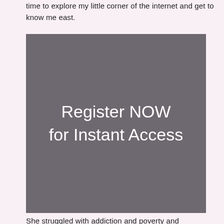time to explore my little corner of the internet and get to know me east.
[Figure (other): Dark grey rectangular banner with white text reading 'Register NOW for Instant Access']
She struggled with addiction and poverty and deserved better, says a factum filed by lawyers